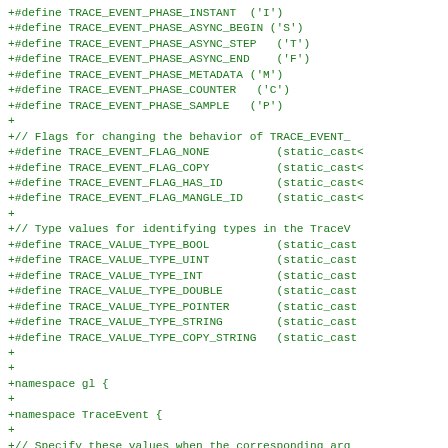+#define TRACE_EVENT_PHASE_INSTANT ('I')
+#define TRACE_EVENT_PHASE_ASYNC_BEGIN ('S')
+#define TRACE_EVENT_PHASE_ASYNC_STEP  ('T')
+#define TRACE_EVENT_PHASE_ASYNC_END   ('F')
+#define TRACE_EVENT_PHASE_METADATA ('M')
+#define TRACE_EVENT_PHASE_COUNTER  ('C')
+#define TRACE_EVENT_PHASE_SAMPLE  ('P')
+
+// Flags for changing the behavior of TRACE_EVENT_
+#define TRACE_EVENT_FLAG_NONE         (static_cast<
+#define TRACE_EVENT_FLAG_COPY         (static_cast<
+#define TRACE_EVENT_FLAG_HAS_ID       (static_cast<
+#define TRACE_EVENT_FLAG_MANGLE_ID    (static_cast<
+
+// Type values for identifying types in the TraceV
+#define TRACE_VALUE_TYPE_BOOL         (static_cast
+#define TRACE_VALUE_TYPE_UINT         (static_cast
+#define TRACE_VALUE_TYPE_INT          (static_cast
+#define TRACE_VALUE_TYPE_DOUBLE       (static_cast
+#define TRACE_VALUE_TYPE_POINTER      (static_cast
+#define TRACE_VALUE_TYPE_STRING       (static_cast
+#define TRACE_VALUE_TYPE_COPY_STRING  (static_cast
+
+
+namespace gl {
+
+namespace TraceEvent {
+
+// Specify these values when the corresponding arg
+// used.
++const int zeroNumArgs = 0;